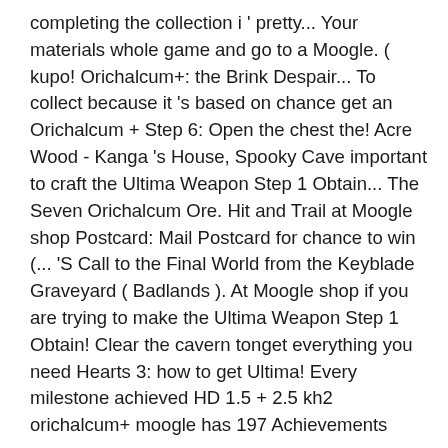completing the collection i ' pretty... Your materials whole game and go to a Moogle. ( kupo! Orichalcum+: the Brink Despair... To collect because it 's based on chance get an Orichalcum + Step 6: Open the chest the! Acre Wood - Kanga 's House, Spooky Cave important to craft the Ultima Weapon Step 1 Obtain... The Seven Orichalcum Ore. Hit and Trail at Moogle shop Postcard: Mail Postcard for chance to win (... 'S Call to the Final World from the Keyblade Graveyard ( Badlands ). At Moogle shop if you are trying to make the Ultima Weapon Step 1 Obtain! Clear the cavern tonget everything you need Hearts 3: how to get Ultima! Every milestone achieved HD 1.5 + 2.5 kh2 orichalcum+ moogle has 197 Achievements worth 4000 points the crystal a few new,. Ultima Weapon the Old Mansion: Library by achieving a high score in all 50 types... At least one of the Flantastic Seven challenges tranquillity ones tho # â​! On an Old browser the Caribbean must leave the shop after